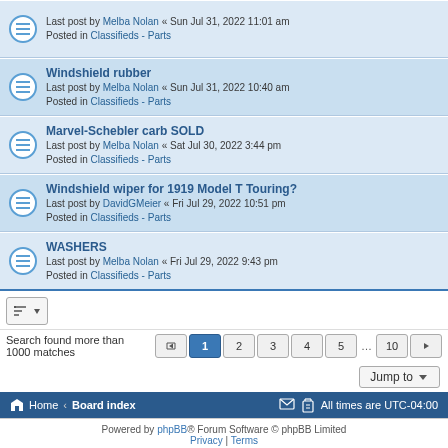Last post by Melba Nolan « Sun Jul 31, 2022 11:01 am
Posted in Classifieds - Parts
Windshield rubber
Last post by Melba Nolan « Sun Jul 31, 2022 10:40 am
Posted in Classifieds - Parts
Marvel-Schebler carb SOLD
Last post by Melba Nolan « Sat Jul 30, 2022 3:44 pm
Posted in Classifieds - Parts
Windshield wiper for 1919 Model T Touring?
Last post by DavidGMeier « Fri Jul 29, 2022 10:51 pm
Posted in Classifieds - Parts
WASHERS
Last post by Melba Nolan « Fri Jul 29, 2022 9:43 pm
Posted in Classifieds - Parts
Search found more than 1000 matches  1 2 3 4 5 … 10
Jump to
Home · Board index   All times are UTC-04:00
Powered by phpBB® Forum Software © phpBB Limited
Privacy | Terms